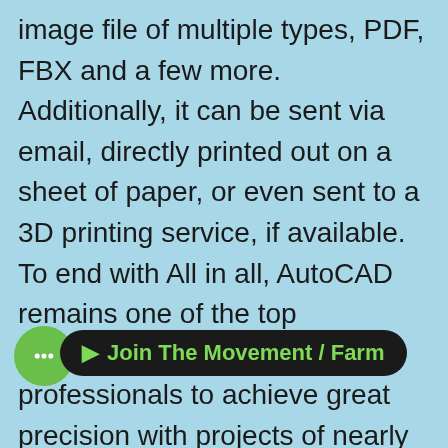image file of multiple types, PDF, FBX and a few more. Additionally, it can be sent via email, directly printed out on a sheet of paper, or even sent to a 3D printing service, if available. To end with All in all, AutoCAD remains one of the top applications used by professionals to achieve great precision with projects of nearly any type. It encourages usage with incredible offers for student licenses so you get acquainted with its abundance of features early on. A lot can be said about what it can and can't do, but the true surprise lies in discovering it step-by-step.
[Figure (other): A dark rounded-rectangle overlay bar with green text reading 'Join The Movement / Farm' and a green chat bubble icon with ellipsis on the left side, overlaying the bottom portion of the text.]